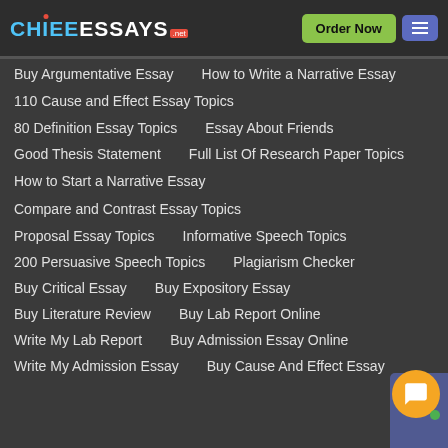Chief Essays - Order Now
Buy Argumentative Essay
How to Write a Narrative Essay
110 Cause and Effect Essay Topics
80 Definition Essay Topics
Essay About Friends
Good Thesis Statement
Full List Of Research Paper Topics
How to Start a Narrative Essay
Compare and Contrast Essay Topics
Proposal Essay Topics
Informative Speech Topics
200 Persuasive Speech Topics
Plagiarism Checker
Buy Critical Essay
Buy Expository Essay
Buy Literature Review
Buy Lab Report Online
Write My Lab Report
Buy Admission Essay Online
Write My Admission Essay
Buy Cause And Effect Essay